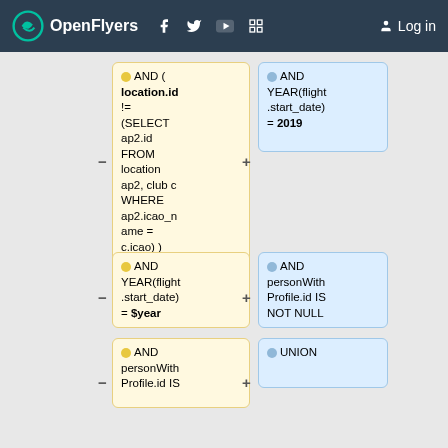OpenFlyers | Log in
[Figure (screenshot): SQL query diagram showing connected boxes with SQL fragments. Left column (yellow boxes): 'AND ( location.id != (SELECT ap2.id FROM location ap2, club c WHERE ap2.icao_name = c.icao) )', 'AND YEAR(flight.start_date) = $year', 'AND personWithProfile.id IS'. Right column (blue boxes): 'AND YEAR(flight.start_date) = 2019', 'AND personWithProfile.id IS NOT NULL', 'UNION'. Boxes connected by + and - symbols.]